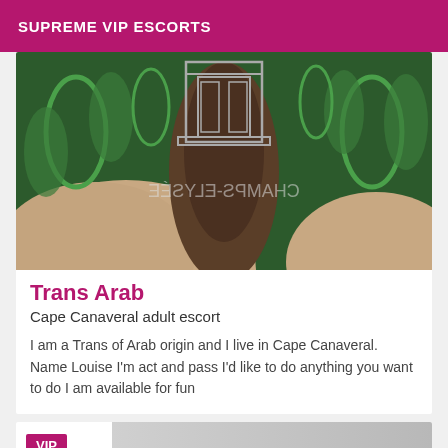SUPREME VIP ESCORTS
[Figure (photo): A blurred photograph of a person's back/shoulder with a dark green decorative background featuring circular and arch shapes. Mirror-text watermark 'CHAMPS-ELYSÉE' visible in center.]
Trans Arab
Cape Canaveral adult escort
I am a Trans of Arab origin and I live in Cape Canaveral. Name Louise I'm act and pass I'd like to do anything you want to do I am available for fun
[Figure (photo): Partial view of another listing card with a VIP badge and a partial photo background.]